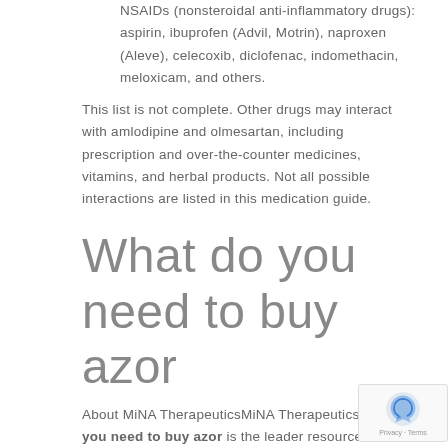NSAIDs (nonsteroidal anti-inflammatory drugs): aspirin, ibuprofen (Advil, Motrin), naproxen (Aleve), celecoxib, diclofenac, indomethacin, meloxicam, and others.
This list is not complete. Other drugs may interact with amlodipine and olmesartan, including prescription and over-the-counter medicines, vitamins, and herbal products. Not all possible interactions are listed in this medication guide.
What do you need to buy azor
About MiNA TherapeuticsMiNA Therapeutics what do you need to buy azor is the leader resource in small activating RNA therapeutics. RNA (saRNA) technolo...